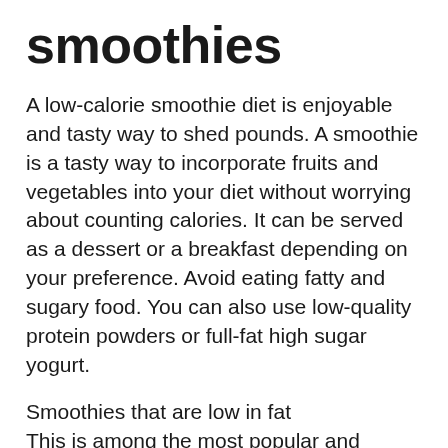smoothies
A low-calorie smoothie diet is enjoyable and tasty way to shed pounds. A smoothie is a tasty way to incorporate fruits and vegetables into your diet without worrying about counting calories. It can be served as a dessert or a breakfast depending on your preference. Avoid eating fatty and sugary food. You can also use low-quality protein powders or full-fat high sugar yogurt.
Smoothies that are low in fat
This is among the most popular and popular fad diets now, and it focuses on replacing one or two meals with healthy smoothies. Smoothies are quick and filling, but they're